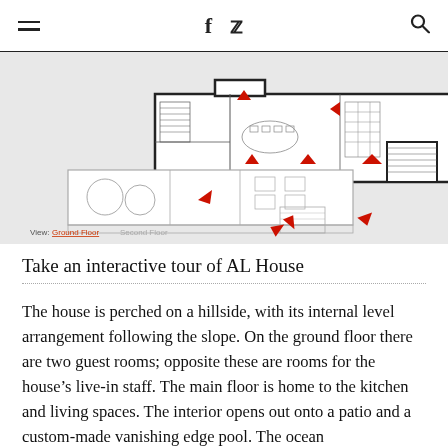f [facebook] [twitter] [search]
[Figure (schematic): Interactive architectural floor plan of AL House showing ground floor layout with red arrow markers indicating viewpoints/hotspots. The plan shows rooms, staircase, circular garden elements, and outdoor patio area. View labels at bottom: 'Ground Floor' (active, underlined in red) and 'Second Floor' (greyed out).]
View: Ground Floor  Second Floor
Take an interactive tour of AL House
The house is perched on a hillside, with its internal level arrangement following the slope. On the ground floor there are two guest rooms; opposite these are rooms for the house's live-in staff. The main floor is home to the kitchen and living spaces. The interior opens out onto a patio and a custom-made vanishing edge pool. The ocean